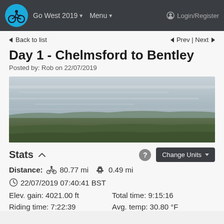Go West 2019 ▾  Menu ▾  Login/Register
◄ Back to list
◄ Prev | Next ►
Day 1 - Chelmsford to Bentley
Posted by: Rob on 22/07/2019
[Figure (photo): Panoramic landscape photo showing countryside with overcast sky, rolling hills and greenery]
Stats ▲
Distance: 🚴 80.77 mi  ⛴ 0.49 mi
🕐 22/07/2019 07:40:41 BST
Elev. gain: 4021.00 ft    Total time: 9:15:16
Riding time: 7:22:39    Avg. temp: 30.80 °F